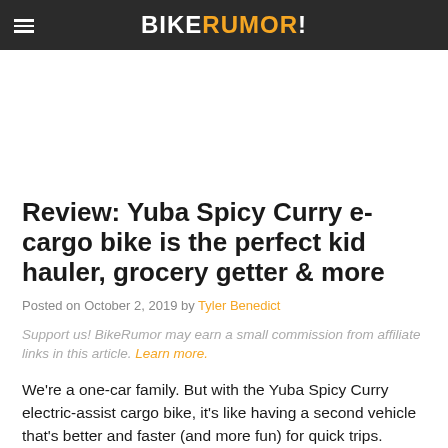BIKERUMOR!
Review: Yuba Spicy Curry e-cargo bike is the perfect kid hauler, grocery getter & more
Posted on October 2, 2019 by Tyler Benedict
Support us! BikeRumor may earn a small commission from affiliate links in this article. Learn more.
We're a one-car family. But with the Yuba Spicy Curry electric-assist cargo bike, it's like having a second vehicle that's better and faster (and more fun) for quick trips. We've put our test bike